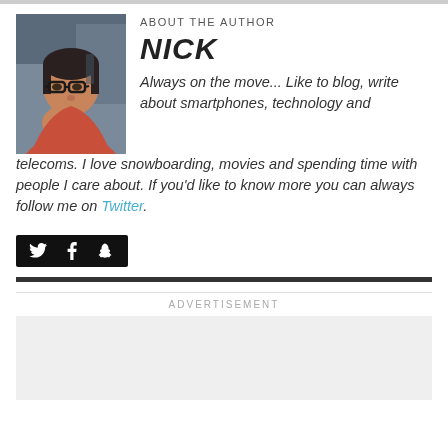[Figure (photo): Author photo of Nick, a man with glasses, resting his chin on his hand, wearing a pink/salmon shirt.]
ABOUT THE AUTHOR
NICK
Always on the move... Like to blog, write about smartphones, technology and telecoms. I love snowboarding, movies and spending time with people I care about. If you'd like to know more you can always follow me on Twitter.
[Figure (other): Social media icons bar with Twitter, Facebook, and Google+ icons on black background]
ADVERTISEMENT